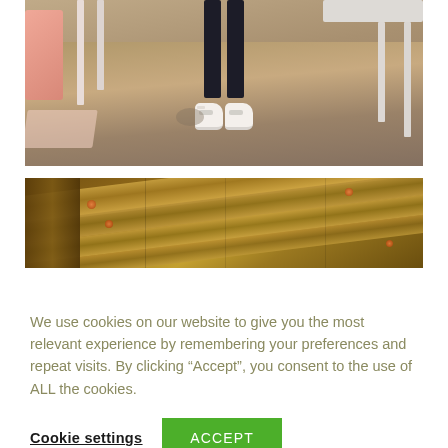[Figure (photo): Photo showing legs of a person wearing black leggings and white chunky sneakers, standing on a sandy/concrete floor with white chair/table legs visible around them.]
[Figure (photo): Close-up photo of wooden beams or boards with an industrial/rustic look, showing diagonal wooden slats with copper/bronze connector bolts.]
We use cookies on our website to give you the most relevant experience by remembering your preferences and repeat visits. By clicking “Accept”, you consent to the use of ALL the cookies.
Cookie settings
ACCEPT